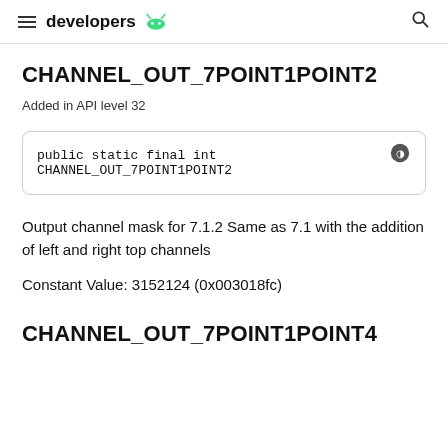developers
CHANNEL_OUT_7POINT1POINT2
Added in API level 32
public static final int CHANNEL_OUT_7POINT1POINT2
Output channel mask for 7.1.2 Same as 7.1 with the addition of left and right top channels
Constant Value: 3152124 (0x003018fc)
CHANNEL_OUT_7POINT1POINT4